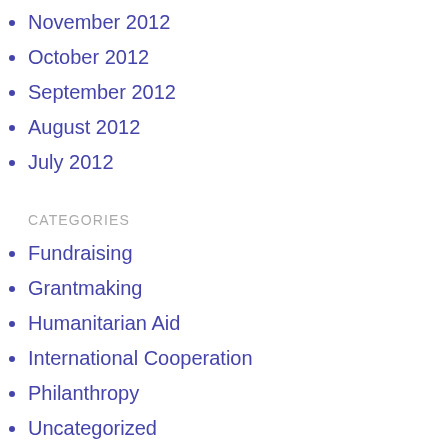December 2012
November 2012
October 2012
September 2012
August 2012
July 2012
CATEGORIES
Fundraising
Grantmaking
Humanitarian Aid
International Cooperation
Philanthropy
Uncategorized
META
Log in
Entries feed
Comments feed
WordPress.org